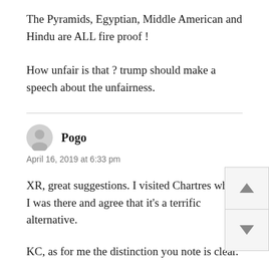The Pyramids, Egyptian, Middle American and Hindu are ALL fire proof !
How unfair is that ? trump should make a speech about the unfairness.
Pogo
April 16, 2019 at 6:33 pm
XR, great suggestions. I visited Chartres when I was there and agree that it’s a terrific alternative.
KC, as for me the distinction you note is clear.